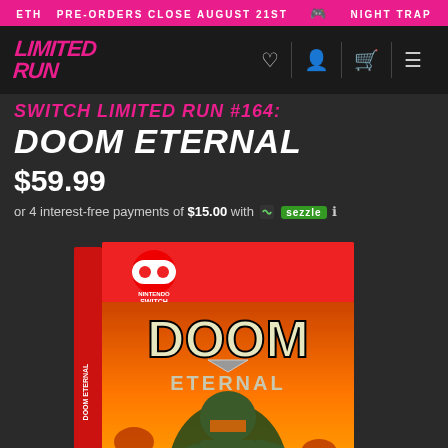ETH  PRE-ORDERS CLOSE AUGUST 21ST  🎮  NIGHT TRAP
[Figure (logo): Limited Run Games logo in pink italic bold text]
SWITCH LIMITED RUN #164: DOOM ETERNAL
$59.99
or 4 interest-free payments of $15.00 with Sezzle
[Figure (photo): Nintendo Switch game case for DOOM ETERNAL showing the game box with DOOM ETERNAL title and artwork of the Doomslayer character against a fiery hellscape background]